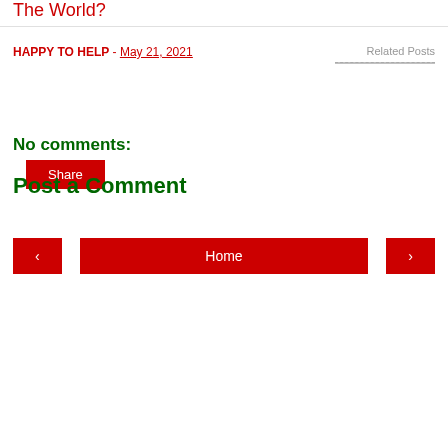The World?
HAPPY TO HELP - May 21, 2021
Related Posts
Share
No comments:
Post a Comment
‹
Home
›